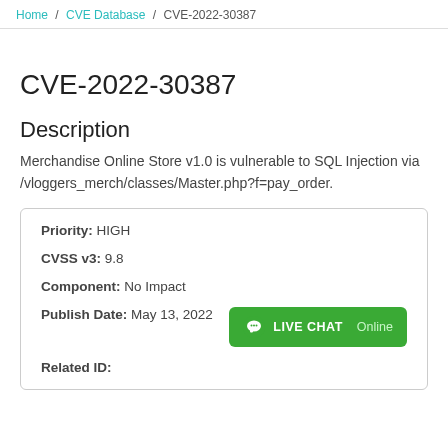Home > CVE Database > CVE-2022-30387
CVE-2022-30387
Description
Merchandise Online Store v1.0 is vulnerable to SQL Injection via /vloggers_merch/classes/Master.php?f=pay_order.
| Field | Value |
| --- | --- |
| Priority: | HIGH |
| CVSS v3: | 9.8 |
| Component: | No Impact |
| Publish Date: | May 13, 2022 |
| Related ID: |  |